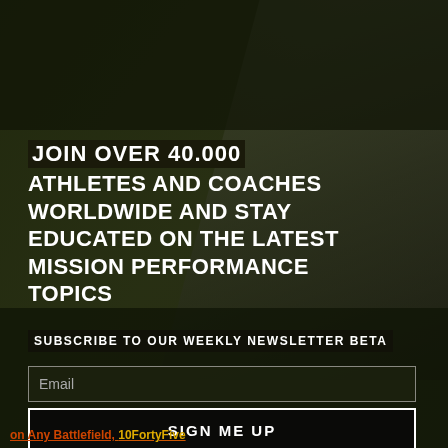[Figure (photo): Dark gym background photo showing weightlifting equipment and an athlete, overlaid with a dark olive/green tint and diagonal composition.]
JOIN OVER 40.000 ATHLETES AND COACHES WORLDWIDE AND STAY EDUCATED ON THE LATEST MISSION PERFORMANCE TOPICS
SUBSCRIBE TO OUR WEEKLY NEWSLETTER BETA
Email
SIGN ME UP
on Any Battlefield, 10FortyFive